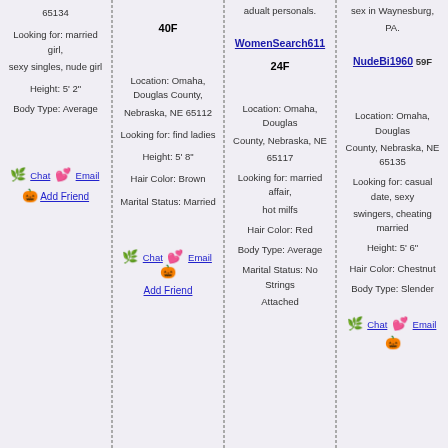65134
Looking for: married girl,
sexy singles, nude girl
Height: 5' 2"
Body Type: Average
Chat  Email  Add Friend
40F
Location: Omaha, Douglas County, Nebraska, NE 65112
Looking for: find ladies
Height: 5' 8"
Hair Color: Brown
Marital Status: Married
Chat  Email  Add Friend
adualt personals.
WomenSearch611
24F
Location: Omaha, Douglas County, Nebraska, NE 65117
Looking for: married affair, hot milfs
Hair Color: Red
Body Type: Average
Marital Status: No Strings Attached
sex in Waynesburg, PA.
NudeBi1960 59F
Location: Omaha, Douglas County, Nebraska, NE 65135
Looking for: casual date, sexy swingers, cheating married
Height: 5' 6"
Hair Color: Chestnut
Body Type: Slender
Chat  Email